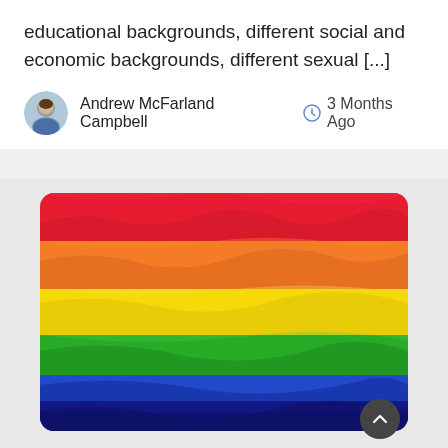educational backgrounds, different social and economic backgrounds, different sexual [...]
Andrew McFarland Campbell   3 Months Ago
[Figure (photo): A painted rainbow flag with vivid red, orange, yellow, green, and blue horizontal bands on textured canvas]